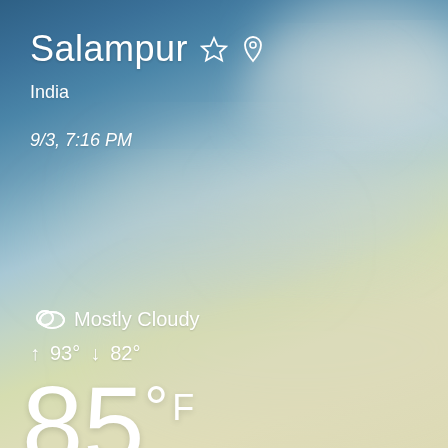Salampur
India
9/3, 7:16 PM
Mostly Cloudy
↑ 93° ↓ 82°
85° F